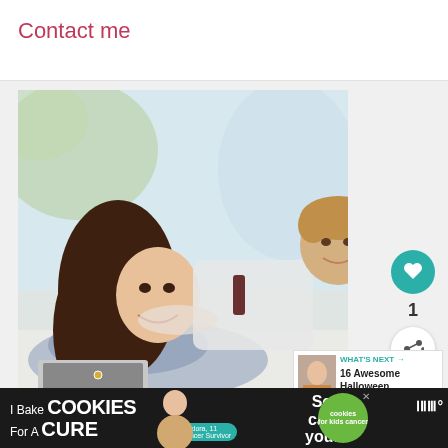Contact me
[Figure (photo): A smiling woman with long brown hair lying on the floor working on a laptop, with a young boy in a white shirt and tie draped over her back smiling at the camera. Bright outdoor background.]
1
WHAT'S NEXT → 16 Awesome Halloween...
[Figure (photo): Cookie ad banner: 'I Bake COOKIES For A CURE' with Haldora, 11 Cancer Survivor. So can you! cookies for kids cancer logo.]